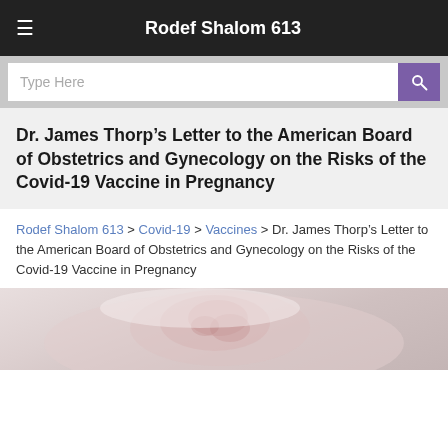Rodef Shalom 613
Dr. James Thorp’s Letter to the American Board of Obstetrics and Gynecology on the Risks of the Covid-19 Vaccine in Pregnancy
Rodef Shalom 613 > Covid-19 > Vaccines > Dr. James Thorp’s Letter to the American Board of Obstetrics and Gynecology on the Risks of the Covid-19 Vaccine in Pregnancy
[Figure (photo): Blurred close-up photo of a newborn baby]